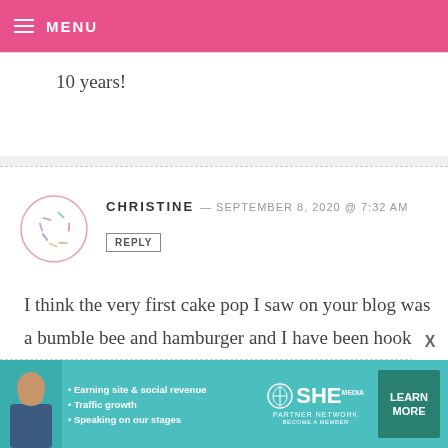MENU
10 years!
CHRISTINE — SEPTEMBER 8, 2020 @ 7:32 AM
REPLY
I think the very first cake pop I saw on your blog was a bumble bee and hamburger and I have been hooked ever since! Congrats on your Cake Pop-iversary!
[Figure (infographic): SHE Partner Network advertisement banner with woman photo, bullet points about earning, traffic growth, speaking on stages, SHE logo, and Learn More button]